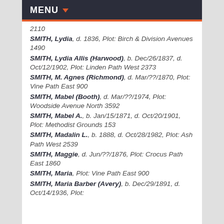MENU
2110
SMITH, Lydia, d. 1836, Plot: Birch & Division Avenues 1490
SMITH, Lydia Allis (Harwood), b. Dec/26/1837, d. Oct/12/1902, Plot: Linden Path West 2373
SMITH, M. Agnes (Richmond), d. Mar/??/1870, Plot: Vine Path East 900
SMITH, Mabel (Booth), d. Mar/??/1974, Plot: Woodside Avenue North 3592
SMITH, Mabel A., b. Jan/15/1871, d. Oct/20/1901, Plot: Methodist Grounds 153
SMITH, Madalin L., b. 1888, d. Oct/28/1982, Plot: Ash Path West 2539
SMITH, Maggie, d. Jun/??/1876, Plot: Crocus Path East 1860
SMITH, Maria, Plot: Vine Path East 900
SMITH, Maria Barber (Avery), b. Dec/29/1891, d. Oct/14/1936, Plot: